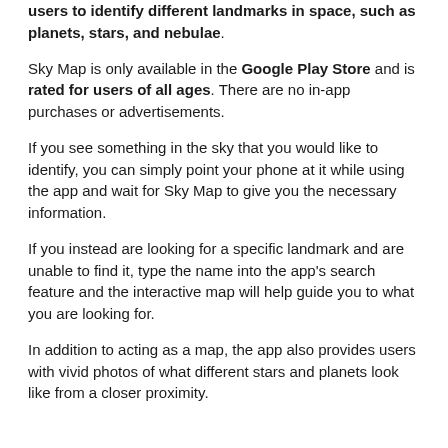users to identify different landmarks in space, such as planets, stars, and nebulae.
Sky Map is only available in the Google Play Store and is rated for users of all ages. There are no in-app purchases or advertisements.
If you see something in the sky that you would like to identify, you can simply point your phone at it while using the app and wait for Sky Map to give you the necessary information.
If you instead are looking for a specific landmark and are unable to find it, type the name into the app's search feature and the interactive map will help guide you to what you are looking for.
In addition to acting as a map, the app also provides users with vivid photos of what different stars and planets look like from a closer proximity.